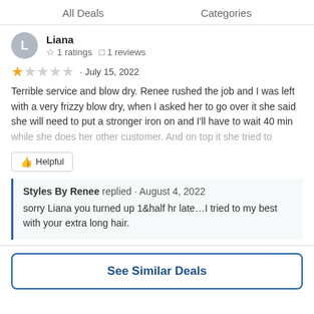All Deals   Categories
Liana
☆ 1 ratings  □ 1 reviews
★☆☆☆☆ · July 15, 2022
Terrible service and blow dry. Renee rushed the job and I was left with a very frizzy blow dry, when I asked her to go over it she said she will need to put a stronger iron on and I'll have to wait 40 min while she does her other customer. And on top it she tried to
👍 Helpful
Styles By Renee replied · August 4, 2022
sorry Liana you turned up 1&half hr late…I tried to my best with your extra long hair.
See Similar Deals